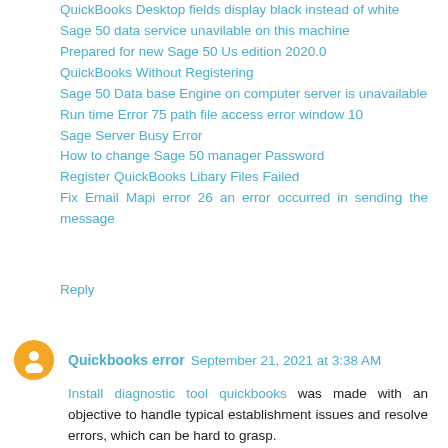QuickBooks Desktop fields display black instead of white
Sage 50 data service unavilable on this machine
Prepared for new Sage 50 Us edition 2020.0
QuickBooks Without Registering
Sage 50 Data base Engine on computer server is unavailable
Run time Error 75 path file access error window 10
Sage Server Busy Error
How to change Sage 50 manager Password
Register QuickBooks Libary Files Failed
Fix Email Mapi error 26 an error occurred in sending the message
Reply
Quickbooks error  September 21, 2021 at 3:38 AM
Install diagnostic tool quickbooks was made with an objective to handle typical establishment issues and resolve errors, which can be hard to grasp.
Reply